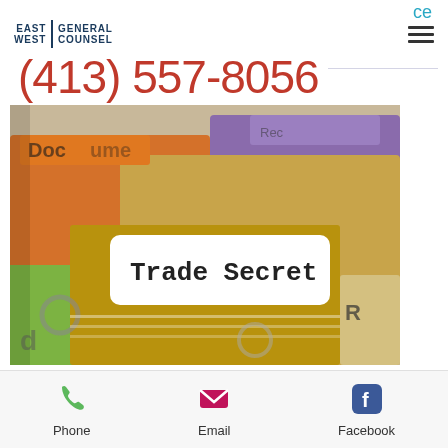ce
[Figure (logo): East West General Counsel logo with text in dark blue]
[Figure (other): Hamburger menu icon (three horizontal lines)]
(413) 557-8056
[Figure (photo): Photo of colorful file folder tabs with one labeled 'Trade Secret' in typewriter font, others showing partial labels like 'Documents' and 'R']
East West General Counsel  Nov 12, 2018 · 1 min
Phone  Email  Facebook